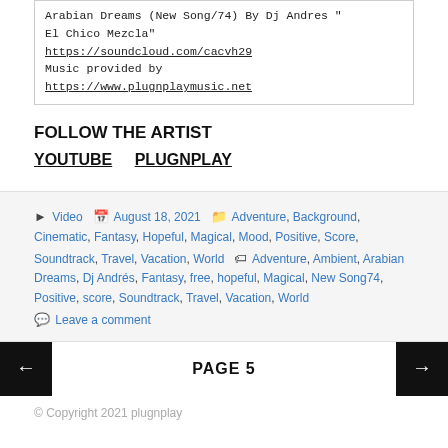Arabian Dreams (New Song/74) By Dj Andres "El Chico Mezcla"
https://soundcloud.com/cacvh29
Music provided by
https://www.plugnplaymusic.net
FOLLOW THE ARTIST
YOUTUBE  PLUGNPLAY
Posted in Video  August 18, 2021  Categories Adventure, Background, Cinematic, Fantasy, Hopeful, Magical, Mood, Positive, Score, Soundtrack, Travel, Vacation, World  Tags Adventure, Ambient, Arabian Dreams, Dj Andrés, Fantasy, free, hopeful, Magical, New Song74, Positive, score, Soundtrack, Travel, Vacation, World
Leave a comment
PAGE 5
© Copyright 2021 plugnplay